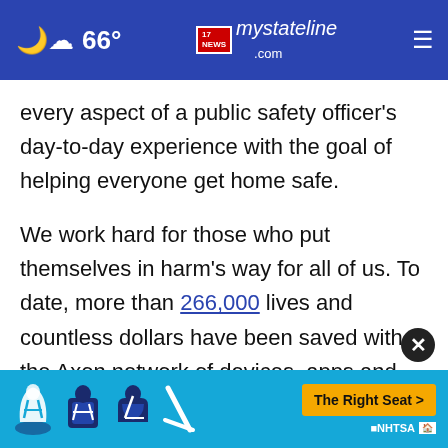66° | my stateline NEWS .com
every aspect of a public safety officer's day-to-day experience with the goal of helping everyone get home safe.

We work hard for those who put themselves in harm's way for all of us. To date, more than 266,000 lives and countless dollars have been saved with the Axon network of devices, apps and people. Learn more at www.axon.com or by calling (800) 978-2737. Axon is a global company with [global]
[Figure (screenshot): Blue advertisement banner at bottom showing car safety icons (car seat, booster seat, child seats) with a yellow 'The Right Seat >' button and NHTSA logo]